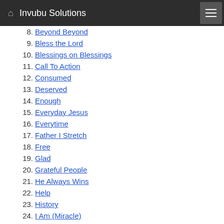Invubu Solutions
8. Beyond Beyond
9. Bless the Lord
10. Blessings on Blessings
11. Call To Action
12. Consumed
13. Deserved
14. Enough
15. Everyday Jesus
16. Everytime
17. Father I Stretch
18. Free
19. Glad
20. Grateful People
21. He Always Wins
22. Help
23. History
24. I Am (Miracle)
25. I Got That